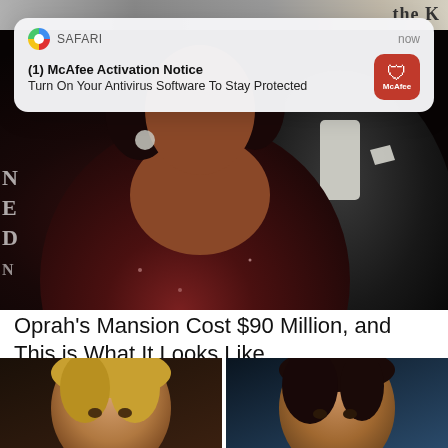[Figure (screenshot): Top partial photo strip showing partial faces at the top of the screen, with 'the K' text visible at top-right]
[Figure (screenshot): Safari browser push notification banner reading '(1) McAfee Activation Notice - Turn On Your Antivirus Software To Stay Protected' with McAfee red shield icon and 'now' timestamp]
[Figure (photo): Main photo of Oprah Winfrey in a dark red/burgundy sparkly dress with a man in a black suit behind her]
Oprah's Mansion Cost $90 Million, and This is What It Looks Like
popcornews.com
[Figure (photo): Bottom strip showing two side-by-side photos of women, left photo appears to be Nancy Pelosi, right photo appears to be Alexandria Ocasio-Cortez]